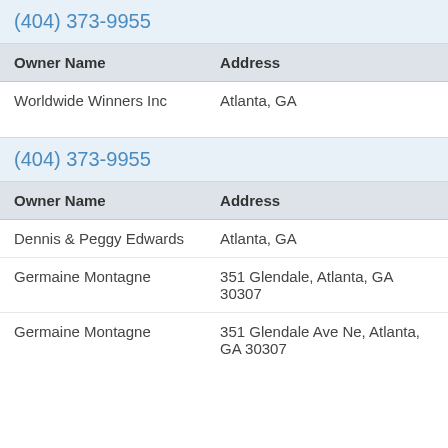(404) 373-9955
| Owner Name | Address |
| --- | --- |
| Worldwide Winners Inc | Atlanta, GA |
(404) 373-9955
| Owner Name | Address |
| --- | --- |
| Dennis & Peggy Edwards | Atlanta, GA |
| Germaine Montagne | 351 Glendale, Atlanta, GA 30307 |
| Germaine Montagne | 351 Glendale Ave Ne, Atlanta, GA 30307 |